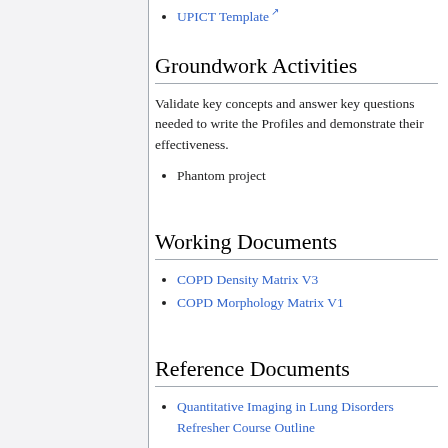UPICT Template
Groundwork Activities
Validate key concepts and answer key questions needed to write the Profiles and demonstrate their effectiveness.
Phantom project
Working Documents
COPD Density Matrix V3
COPD Morphology Matrix V1
Reference Documents
Quantitative Imaging in Lung Disorders Refresher Course Outline